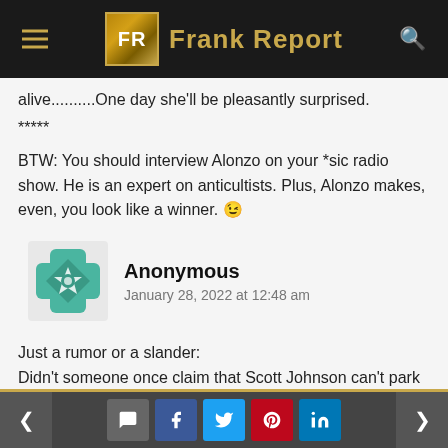Frank Report
alive..........One day she'll be pleasantly surprised.
*****
BTW: You should interview Alonzo on your *sic radio show. He is an expert on anticultists. Plus, Alonzo makes, even, you look like a winner. 😉
Anonymous
January 28, 2022 at 12:48 am
Just a rumor or a slander:
Didn't someone once claim that Scott Johnson can't park his car in the garage because he stores huge amounts of Amway washing